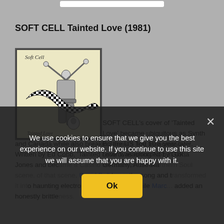SOFT CELL Tainted Love (1981)
[Figure (illustration): Album cover art for Soft Cell's Tainted Love — pencil/ink drawing of a dancer figure with arms raised, wrapped in a black-and-white checkered scarf/ribbon, on a cream background. Text 'Soft Cell' at top and 'Tainted Love' at bottom.]
SOFT CELL's cover of 'Tainted Love' became ubiquitous as Synth Britannia's first true crossover record, reaching No1 in UK, Germany, Australia and Canada while also breaking the US Top 10 a year later. Written by Ed Cobb, 'Tainted Love' was recorded by Gloria Jones and became a Casino favourite on the Northern Soul scene. A fan of that scene, David Ball knew the song and transformed it into haunting electronic torch territory, while Marc Almond added an honestly brittleness.
We use cookies to ensure that we give you the best experience on our website. If you continue to use this site we will assume that you are happy with it.